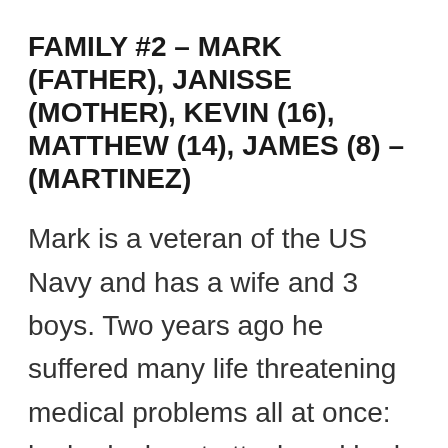FAMILY #2 – MARK (FATHER), JANISSE (MOTHER), KEVIN (16), MATTHEW (14), JAMES (8) – (MARTINEZ)
Mark is a veteran of the US Navy and has a wife and 3 boys. Two years ago he suffered many life threatening medical problems all at once: he had a heart attack and had to